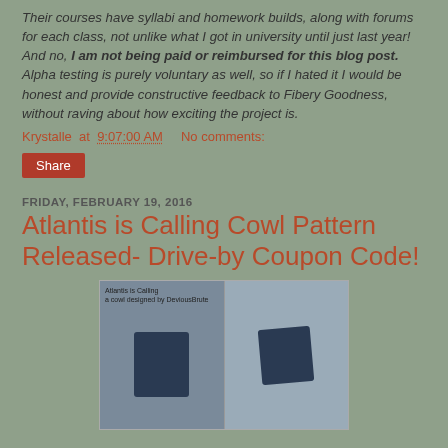Their courses have syllabi and homework builds, along with forums for each class, not unlike what I got in university until just last year!  And no, I am not being paid or reimbursed for this blog post.  Alpha testing is purely voluntary as well, so if I hated it I would be honest and provide constructive feedback to Fibery Goodness, without raving about how exciting the project is.
Krystalle at 9:07:00 AM   No comments:
Share
FRIDAY, FEBRUARY 19, 2016
Atlantis is Calling Cowl Pattern Released- Drive-by Coupon Code!
[Figure (photo): Two photos of the Atlantis is Calling cowl knitting pattern, showing a dark navy blue knitted cowl. Left photo shows the flat fabric, right photo shows it worn/displayed on a surface. Label reads 'Atlantis is Calling a cowl designed by DeviousBrute'.]